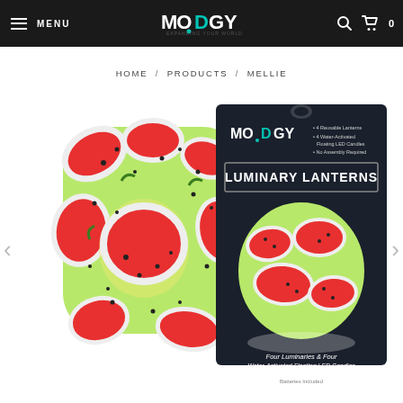MENU | MODGY | Search | Cart 0
HOME / PRODUCTS / MELLIE
[Figure (photo): Watermelon-patterned Modgy Luminary Lantern product, showing an inflated translucent green lantern with red watermelon slice pattern and a black product box labeled LUMINARY LANTERNS with text 'Four Luminaries & Four Water-Activated Floating LED Candles. Batteries included.']